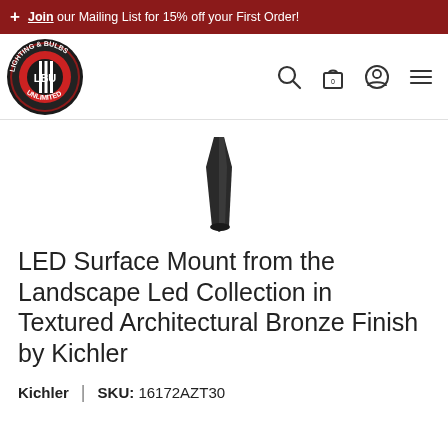Join our Mailing List for 15% off your First Order!
[Figure (logo): Lighting & Bulbs Unlimited (LBU) circular red and black logo]
[Figure (photo): Partial product image of LED Surface Mount fixture in Textured Architectural Bronze]
LED Surface Mount from the Landscape Led Collection in Textured Architectural Bronze Finish by Kichler
Kichler  |  SKU: 16172AZT30